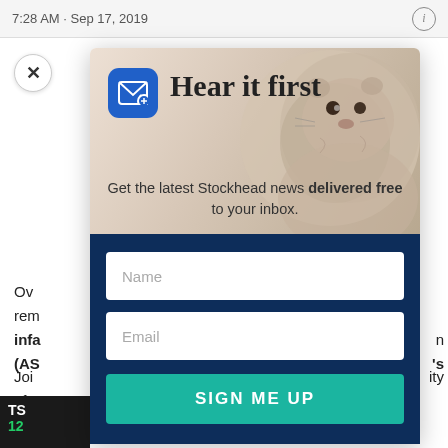7:28 AM · Sep 17, 2019
✕
Ov rem infa (AS
Joi of s The on S
TS 12
[Figure (screenshot): Newsletter signup modal overlay on a Stockhead article page. Shows 'Hear it first' heading with email icon, groundhog photo background, and a dark navy form with Name and Email fields plus a teal SIGN ME UP button.]
Hear it first
Get the latest Stockhead news delivered free to your inbox.
Name
Email
SIGN ME UP